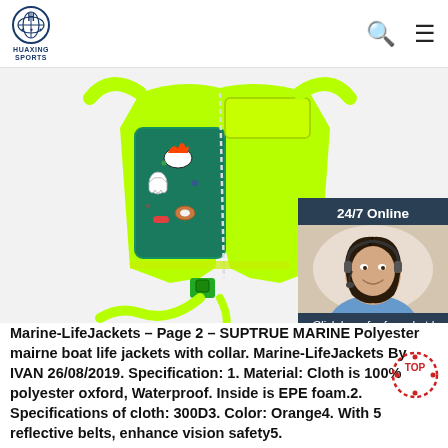HUAXING SPORTS
[Figure (photo): Green and teal children's life jacket/swim vest with cartoon gaming print on front panel, neon green lining and straps, open/flat view on white background. Chat widget overlay on right side showing agent photo with '24/7 Online', 'Click here for free chat!', and 'QUOTATION' button.]
Marine-LifeJackets – Page 2 – SUPTRUE MARINE Polyester mairne boat life jackets with collar. Marine-LifeJackets By IVAN 26/08/2019. Specification: 1. Material: Cloth is 100% polyester oxford, Waterproof. Inside is EPE foam.2. Specifications of cloth: 300D3. Color: Orange4. With 5 reflective belts, enhance vision safety5.